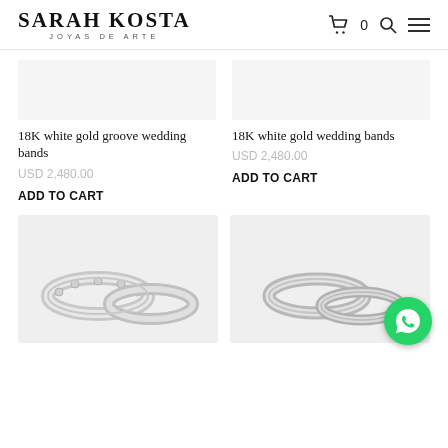SARAH KOSTA JOYAS DE ARTE
18K white gold groove wedding bands
USD 2,480.00
ADD TO CART
18K white gold wedding bands
USD 2,480.00
ADD TO CART
[Figure (photo): Two silver/white gold groove wedding bands with diamond studs, side by side on white background]
[Figure (photo): Two silver/white gold plain wedding bands stacked on white background with WhatsApp button overlay]